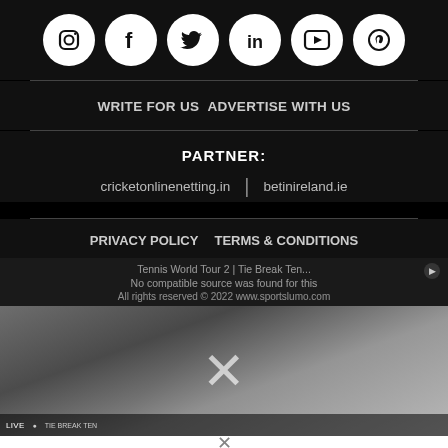[Figure (other): Six social media icon buttons (Instagram, Facebook, Twitter, LinkedIn, YouTube, Pinterest) as white circles on dark background]
WRITE FOR US  ADVERTISE WITH US
PARTNER:
cricketonlinenetting.in  |  betinireland.ie
PRIVACY POLICY    TERMS & CONDITIONS
Tennis World Tour 2 | Tie Break Ten...
No compatible source was found for this
All rights reserved © 2022 www.sportslumo.com
[Figure (screenshot): Video player thumbnail showing blurred sports/tennis content with an X close icon overlay]